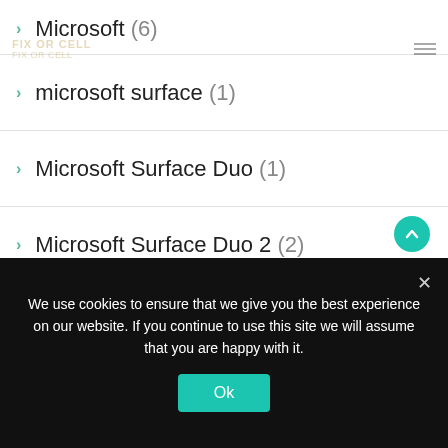[Figure (logo): Fix or Cell logo watermark in header]
Microsoft (6)
microsoft surface (1)
Microsoft Surface Duo (1)
Microsoft Surface Duo 2 (2)
Microsoft Surface Laptop Go (1)
Ming-chi Kuo (1)
mini LED (2)
Mobile (1)
We use cookies to ensure that we give you the best experience on our website. If you continue to use this site we will assume that you are happy with it.